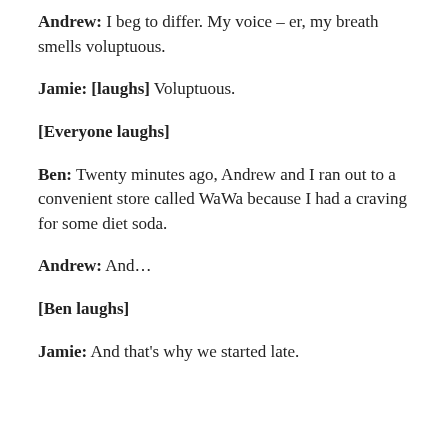Andrew: I beg to differ. My voice – er, my breath smells voluptuous.
Jamie: [laughs] Voluptuous.
[Everyone laughs]
Ben: Twenty minutes ago, Andrew and I ran out to a convenient store called WaWa because I had a craving for some diet soda.
Andrew: And…
[Ben laughs]
Jamie: And that's why we started late.